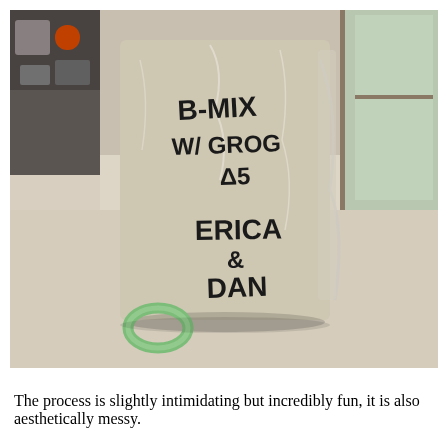[Figure (photo): A photograph of a bag of clay wrapped in plastic wrap, sitting on a light-colored table surface. The bag is labeled in black marker handwriting: 'B-MIX W/ GROG Δ5' and below that 'ERICA & DAN'. In front of the bag on the table is a small green ceramic ring. In the background are shelves with tools and equipment, and a window on the right side.]
The process is slightly intimidating but incredibly fun, it is also aesthetically messy.